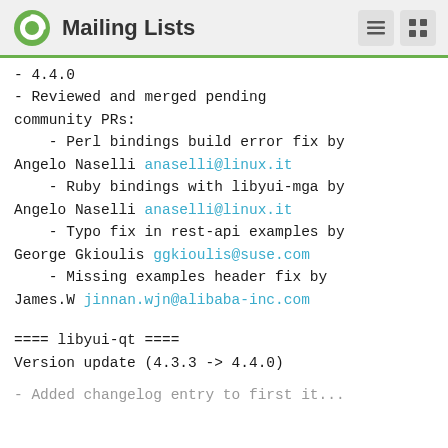Mailing Lists
- 4.4.0
- Reviewed and merged pending community PRs:
- Perl bindings build error fix by Angelo Naselli anaselli@linux.it
- Ruby bindings with libyui-mga by Angelo Naselli anaselli@linux.it
- Typo fix in rest-api examples by George Gkioulis ggkioulis@suse.com
- Missing examples header fix by James.W jinnan.wjn@alibaba-inc.com
==== libyui-qt ====
Version update (4.3.3 -> 4.4.0)
- Added changelog entry to first item...